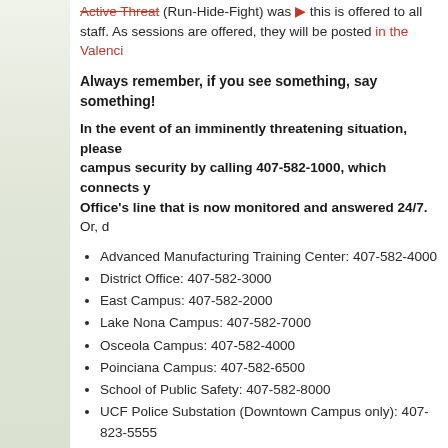Active Threat (Run-Hide-Fight) was... this is offered to all staff. As sessions are offered, they will be posted in the Valencia...
Always remember, if you see something, say something!
In the event of an imminently threatening situation, please campus security by calling 407-582-1000, which connects y Office's line that is now monitored and answered 24/7. Or, d
Advanced Manufacturing Training Center: 407-582-4000
District Office: 407-582-3000
East Campus: 407-582-2000
Lake Nona Campus: 407-582-7000
Osceola Campus: 407-582-4000
Poinciana Campus: 407-582-6500
School of Public Safety: 407-582-8000
UCF Police Substation (Downtown Campus only): 407-823-5555
West Campus: 407-582-1000
Winter Park Campus: 407-582-6000
And remember, if you haven't yet downloaded the Valencia Col... This app allows users to simultaneously call and send their loca... emergency on Valencia campuses.